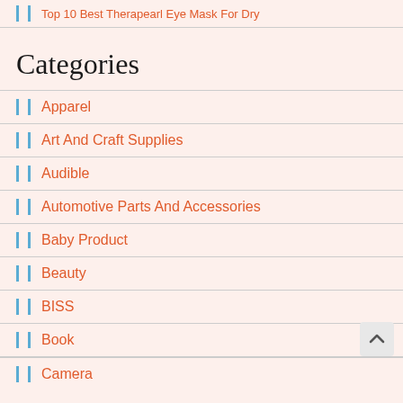Top 10 Best Therapearl Eye Mask For Dry
Categories
Apparel
Art And Craft Supplies
Audible
Automotive Parts And Accessories
Baby Product
Beauty
BISS
Book
Camera